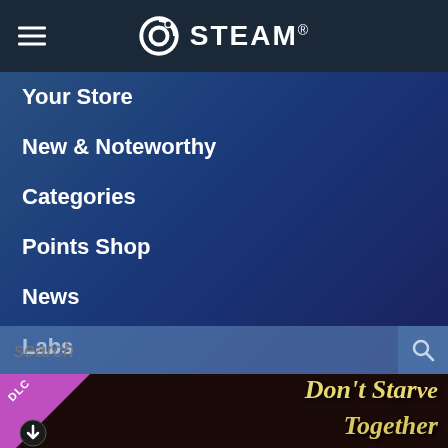STEAM
Your Store
New & Noteworthy
Categories
Points Shop
News
Labs
[Figure (screenshot): Steam store mobile navigation menu with search bar and Don't Starve Together DLC game banner at bottom]